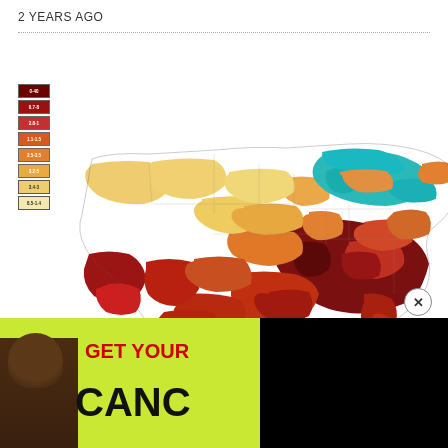2 YEARS AGO
[Figure (map): Choropleth map of the United States showing Gun Homicides Per 100k People by county. Color scale from white/light yellow (low rates) to dark red/maroon (high rates), with teal/cyan indicating Great Lakes water bodies. Legend shows ranges: 0-40, 0.7-8, 2.8-1, 1.1-1.5, 2.5-3.5, 3.2-5, 3.4-3, 8.5-1.4. Southern and some western counties show darkest (highest) rates.]
Gun Homicides Per 100k People
[Figure (infographic): Advertisement bar at bottom: yellow/green background with red text 'GET YOUR' and black text 'CANC' partially visible, with a person's photo on the left. A black overlay rectangle covers right half of bottom area.]